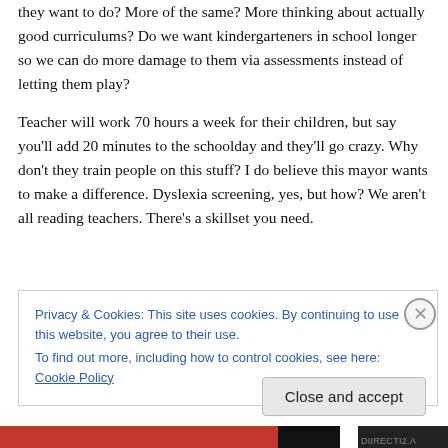they want to do? More of the same? More thinking about actually good curriculums? Do we want kindergarteners in school longer so we can do more damage to them via assessments instead of letting them play?
Teacher will work 70 hours a week for their children, but say you'll add 20 minutes to the schoolday and they'll go crazy. Why don't they train people on this stuff? I do believe this mayor wants to make a difference. Dyslexia screening, yes, but how? We aren't all reading teachers. There's a skillset you need.
Privacy & Cookies: This site uses cookies. By continuing to use this website, you agree to their use. To find out more, including how to control cookies, see here: Cookie Policy
Close and accept